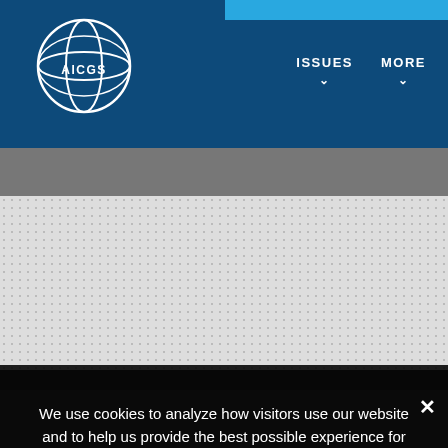AICGS — ISSUES ▾  MORE ▾
[Figure (logo): AICGS globe logo with circular lines and AICGS text]
We use cookies to analyze how visitors use our website and to help us provide the best possible experience for users.
Click "I Agree" below if you agree to allow cookies from AICGS. For more information or to opt-out of cookies, please view our Privacy Policy.
❯  Privacy Preferences
I Agree